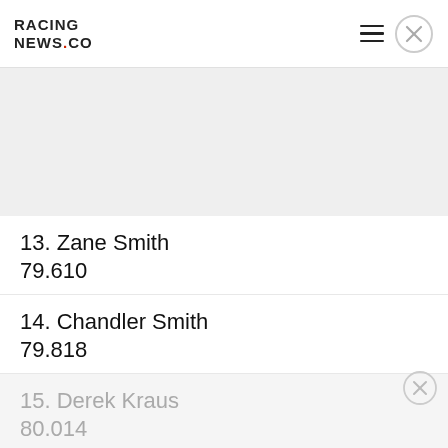RACING NEWS.CO
[Figure (other): Gray banner/ad placeholder area]
13. Zane Smith
79.610
14. Chandler Smith
79.818
15. Derek Kraus
80.014